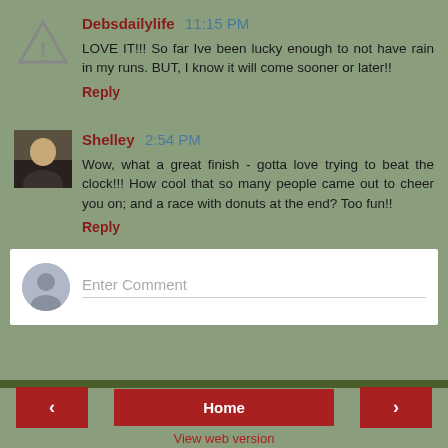Debsdailylife 11:15 PM
LOVE IT!!! So far Ive been lucky enough to not have rain in my runs. BUT, I know it will come sooner or later!!
Reply
Shelley 2:54 PM
Wow, what a great finish - gotta love trying to beat the clock!!! How cool that so many people came out to cheer you on; and a race with donuts at the end? Too fun!!
Reply
Enter Comment
< Home > View web version